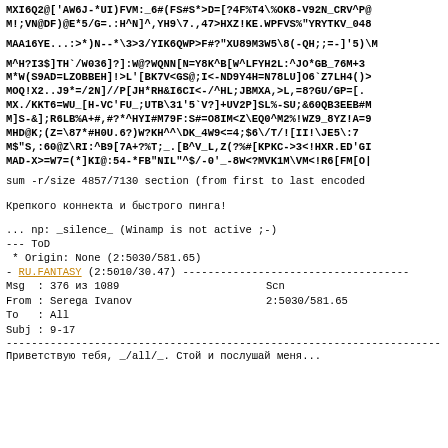MXI6Q2@['AW6J-*UI)FVM:_6#(FS#S*>D=[?4F%T4\%OK8-V92N_CRV^P@
M!;VN@DF)@E*5/G=.:H^N]^,YH9\7.,47>HXZ!KE.WPFVS%"YRYTKV_048
MAA16YE...:>*)N--*\3>3/YIK6QWP>F#?"XU89M3W5\8(-QH;;=-]'5)\M
M^H?I3$]TH`/W036]?]:W@?WQNN[N=Y8K^B[W^LFYH2L:^JO*GB_76M+3
M*W(S9AD=LZOBBEH]!>L'[BK7V<GS@;I<-ND9Y4H=N78LU]O6`Z7LH4()>
MOQ!X2..J9*=/2N]//P[JH*RH&I6CI<-/^HL;JBMXA,>L,=8?GU/GP=[.
MX./KKT6=WU_[H-VC'FU_;UTB\31'5`V?]+UV2P]SL%-SU;&60QB3EEB#M
M]S-&];R6LB%A+#,#?*^HYI#M79F:S#=O8IM<Z\EQ0^M2%!WZ9_8YZ!A=9
MHD@K;(Z=\87*#H0U.6?)W?KH^^\\DK_4W9<=4;$6\/T/![II!\JE5\:7
M$"S,:60@Z\RI:^B9[7A+?%T;_.[B^V_L,Z(?%#[KPKC->3<!HXR.ED'GI
MAD-X>=W7=(*]KI@:54-*FB"NIL"^$/-0'_-8W<?MVK1M\VM<!R6[FM[O|
sum -r/size 4857/7130 section (from first to last encoded
Крепкого коннекта и быстрого пинга!
... np: _silence_ (Winamp is not active ;-)
--- ToD
 * Origin: None (2:5030/581.65)
- RU.FANTASY (2:5010/30.47) ------------------------------------
| Msg  : 376 из 1089 | Scn |
| From : Serega Ivanov | 2:5030/581.65 |
| To   : All |  |
| Subj : 9-17 |  |
------------------------------------------------------------------------
Приветствую тебя, _/all/_. Стой и послушай меня...